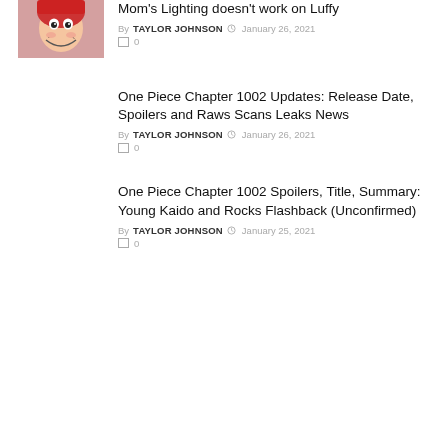[Figure (photo): Thumbnail image of Luffy (One Piece character) with red clothing, smiling face]
Mom's Lighting doesn't work on Luffy
By TAYLOR JOHNSON  January 26, 2021  0
One Piece Chapter 1002 Updates: Release Date, Spoilers and Raws Scans Leaks News
By TAYLOR JOHNSON  January 26, 2021  0
One Piece Chapter 1002 Spoilers, Title, Summary: Young Kaido and Rocks Flashback (Unconfirmed)
By TAYLOR JOHNSON  January 25, 2021  0